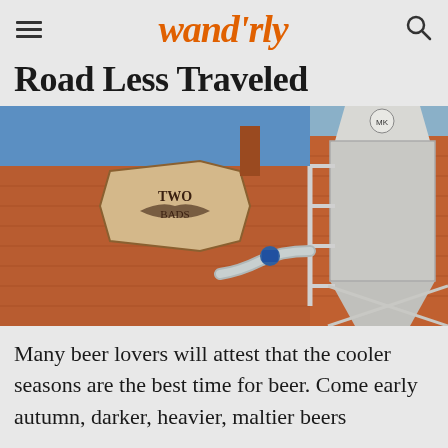wandrly
Road Less Traveled
[Figure (photo): Exterior of a brick brewery building with a painted logo sign reading 'Two' on the facade, blue sky behind, with industrial brewing silo and metal piping visible on the right side]
Many beer lovers will attest that the cooler seasons are the best time for beer. Come early autumn, darker, heavier, maltier beers